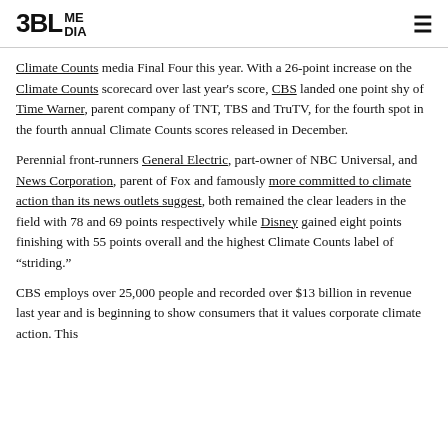3BL MEDIA
Climate Counts media Final Four this year. With a 26-point increase on the Climate Counts scorecard over last year's score, CBS landed one point shy of Time Warner, parent company of TNT, TBS and TruTV, for the fourth spot in the fourth annual Climate Counts scores released in December.
Perennial front-runners General Electric, part-owner of NBC Universal, and News Corporation, parent of Fox and famously more committed to climate action than its news outlets suggest, both remained the clear leaders in the field with 78 and 69 points respectively while Disney gained eight points finishing with 55 points overall and the highest Climate Counts label of “striding.”
CBS employs over 25,000 people and recorded over $13 billion in revenue last year and is beginning to show consumers that it values corporate climate action. This